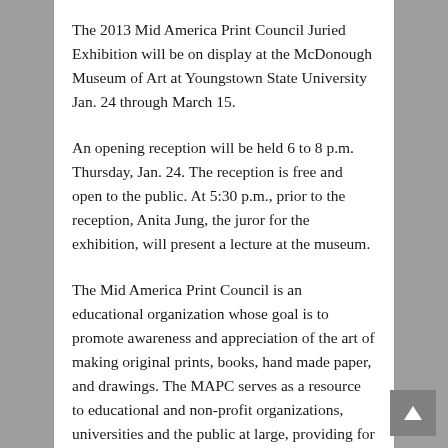The 2013 Mid America Print Council Juried Exhibition will be on display at the McDonough Museum of Art at Youngstown State University Jan. 24 through March 15.
An opening reception will be held 6 to 8 p.m. Thursday, Jan. 24. The reception is free and open to the public. At 5:30 p.m., prior to the reception, Anita Jung, the juror for the exhibition, will present a lecture at the museum.
The Mid America Print Council is an educational organization whose goal is to promote awareness and appreciation of the art of making original prints, books, hand made paper, and drawings. The MAPC serves as a resource to educational and non-profit organizations, universities and the public at large, providing for the exchange of technical and critical information on the art of printmaking. The exhibition